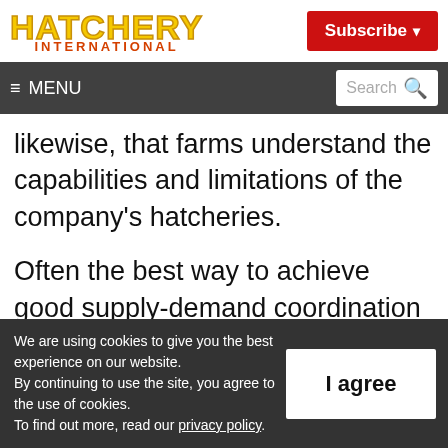HATCHERY INTERNATIONAL
Subscribe
≡ MENU  Search
likewise, that farms understand the capabilities and limitations of the company's hatcheries.
Often the best way to achieve good supply-demand coordination is to have the Chief Operations Officer manage all production
We are using cookies to give you the best experience on our website. By continuing to use the site, you agree to the use of cookies. To find out more, read our privacy policy.